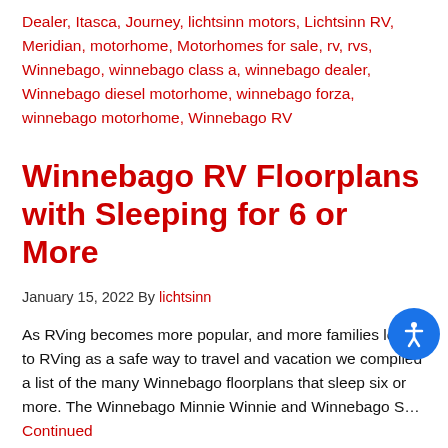Dealer, Itasca, Journey, lichtsinn motors, Lichtsinn RV, Meridian, motorhome, Motorhomes for sale, rv, rvs, Winnebago, winnebago class a, winnebago dealer, Winnebago diesel motorhome, winnebago forza, winnebago motorhome, Winnebago RV
Winnebago RV Floorplans with Sleeping for 6 or More
January 15, 2022 By lichtsinn
As RVing becomes more popular, and more families look to RVing as a safe way to travel and vacation we compiled a list of the many Winnebago floorplans that sleep six or more. The Winnebago Minnie Winnie and Winnebago S… Continued
Tags: motor home, motorhome, Motorhomes for sale, Rv and RV Rv and Winnebago RV Dealer Off...